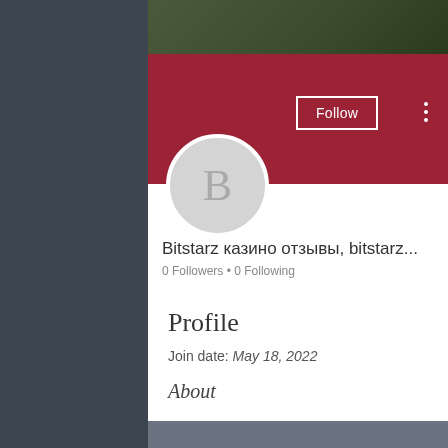[Figure (photo): Screenshot of a social media profile page with a dark red banner, circular avatar with letter B, Follow button, profile name in Russian and English, follower stats, dropdown bar, and Profile section with join date and About heading. Background shows dark photo on sides.]
Bitstarz казино отзывы, bitstarz...
0 Followers • 0 Following
Profile
Join date: May 18, 2022
About